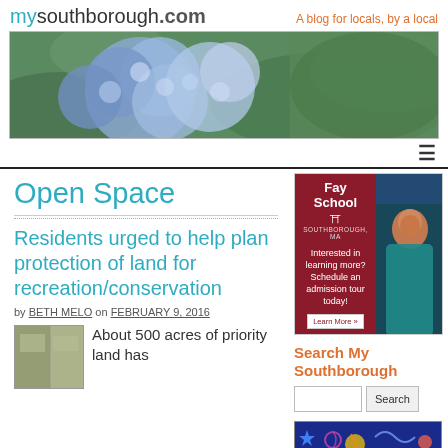mysouthborough.com — A blog for locals, by a local
[Figure (photo): Banner photo of blue hydrangea flowers with green leaves]
Navigation hamburger menu icon
Open Space
Residents urged to help plan protection of land for recreation/conservation
by BETH MELO on FEBRUARY 9, 2016
[Figure (photo): Thumbnail image of maps/documents related to land planning]
About 500 acres of priority land has
[Figure (advertisement): Fay School Southborough MA advertisement — Interested in learning more? Schedule an admission tour today! Learn More button, with photo of smiling student]
Search My Southborough
[Figure (other): Colorful decorative banner with stars and swirls at bottom of sidebar]